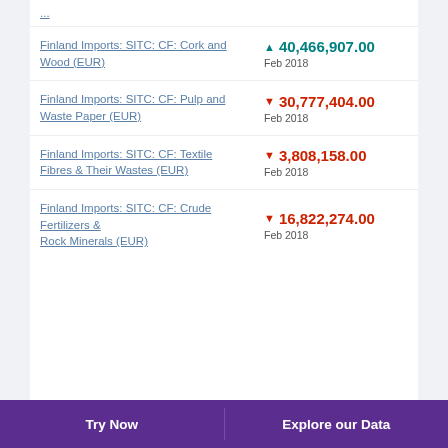Finland Imports: SITC: CF: Cork and Wood (EUR)
Finland Imports: SITC: CF: Pulp and Waste Paper (EUR)
Finland Imports: SITC: CF: Textile Fibres & Their Wastes (EUR)
Finland Imports: SITC: CF: Crude Fertilizers & Rock Minerals (EUR)
Try Now | Explore our Data